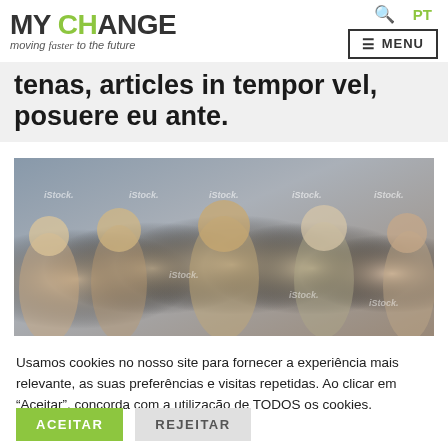[Figure (logo): MY CHANGE logo with 'moving faster to the future' tagline. CH in green, rest in dark gray.]
[Figure (other): Search icon and PT language selector with hamburger MENU button]
tenas, articles in tempor vel, posuere eu ante.
[Figure (photo): Group of five smiling young people together, iStock watermarked photo]
Usamos cookies no nosso site para fornecer a experiência mais relevante, as suas preferências e visitas repetidas. Ao clicar em "Aceitar", concorda com a utilização de TODOS os cookies.
ACEITAR   REJEITAR